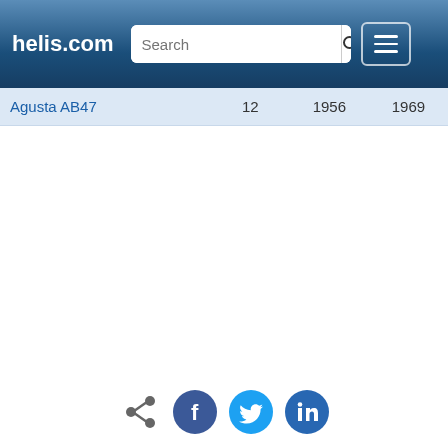helis.com — navigation bar with search
| Aircraft | Count | From | To |
| --- | --- | --- | --- |
| Agusta AB47 | 12 | 1956 | 1969 |
[Figure (infographic): Social media sharing icons: share, Facebook, Twitter, LinkedIn]